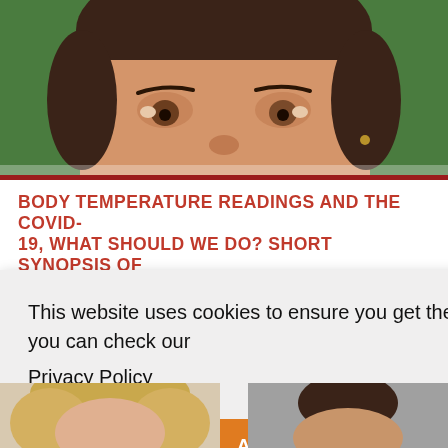[Figure (photo): Close-up photo of a woman's face with brown hair against a green background, cropped to show forehead to chin area]
BODY TEMPERATURE READINGS AND THE COVID-19, WHAT SHOULD WE DO? SHORT SYNOPSIS OF
This website uses cookies to ensure you get the best experience on our website. For more details, you can check our
Privacy Policy
Revoke
Accept
[Figure (photo): Partial photo of a person with blonde hair, bottom of page left]
[Figure (photo): Partial photo of a person, bottom of page right, gray background]